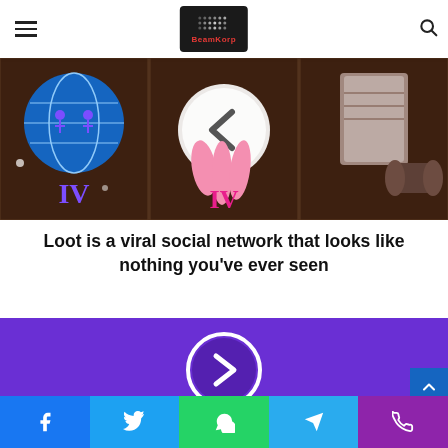BeamKorp
[Figure (illustration): Tarot/board game cards on a dark brown background. Left card shows a blue globe with figures. Center card shows a hand reaching down with a left-arrow circle overlay. Right area shows a book/tome. Roman numerals IV visible in blue and pink.]
Loot is a viral social network that looks like nothing you've ever seen
[Figure (illustration): Purple/violet background with a white right-arrow circle (play button style) in the center.]